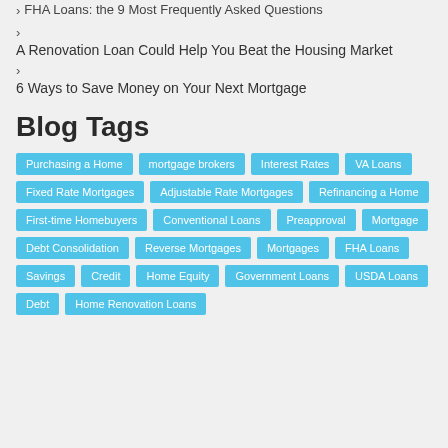FHA Loans: the 9 Most Frequently Asked Questions
A Renovation Loan Could Help You Beat the Housing Market
6 Ways to Save Money on Your Next Mortgage
Blog Tags
Purchasing a Home | mortgage brokers | Interest Rates | VA Loans | Fixed Rate Mortgages | Adjustable Rate Mortgages | Refinancing a Home | First-time Homebuyers | Conventional Loans | Preapproval | Mortgage | Debt Consolidation | Reverse Mortgages | Mortgages | FHA Loans | Savings | Credit | Home Equity | Government Loans | USDA Loans | Debt | Home Renovation Loans